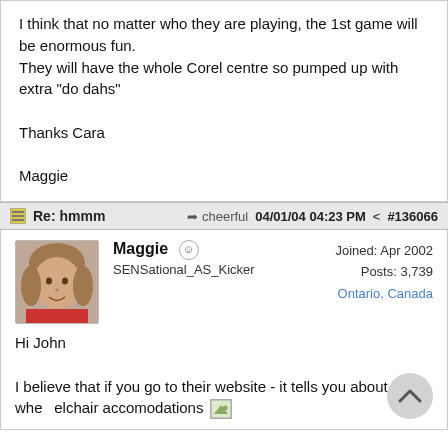I think that no matter who they are playing, the 1st game will be enormous fun.
They will have the whole Corel centre so pumped up with extra "do dahs"

Thanks Cara

Maggie
Re: hmmm  cheerful  04/01/04 04:23 PM  #136066
Maggie
SENSational_AS_Kicker
Joined: Apr 2002
Posts: 3,739
Ontario, Canada
Hi John

I believe that if you go to their website - it tells you about wheelchair accomodations